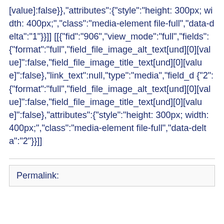[value]:false}},"attributes":{"style":"height: 300px; width: 400px;","class":"media-element file-full","data-delta":"1"}}]] [[{"fid":"906","view_mode":"full","fields": {"format":"full","field_file_image_alt_text[und][0][value]":false,"field_file_image_title_text[und][0][value]":false},"link_text":null,"type":"media","field_d {"2": {"format":"full","field_file_image_alt_text[und][0][value]":false,"field_file_image_title_text[und][0][value]":false}},"attributes":{"style":"height: 300px; width: 400px;","class":"media-element file-full","data-delta":"2"}}]]
Permalink: